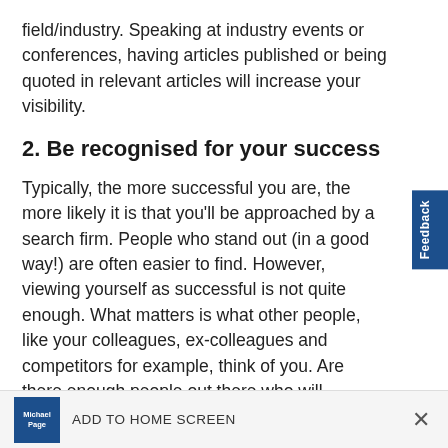field/industry. Speaking at industry events or conferences, having articles published or being quoted in relevant articles will increase your visibility.
2. Be recognised for your success
Typically, the more successful you are, the more likely it is that you'll be approached by a search firm. People who stand out (in a good way!) are often easier to find. However, viewing yourself as successful is not quite enough. What matters is what other people, like your colleagues, ex-colleagues and competitors for example, think of you. Are there enough people out there who will
ADD TO HOME SCREEN